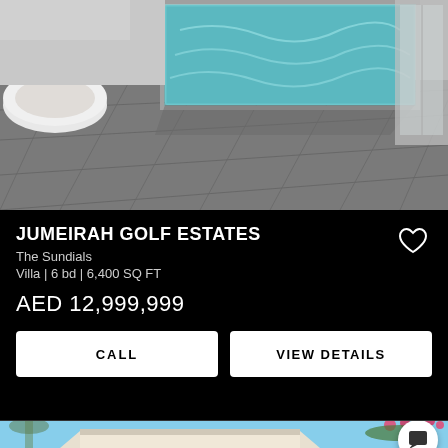[Figure (photo): Outdoor pool area with grey stone/concrete tiles, a rectangular pool with turquoise water, white circular bench/planter structure on the left, and glass sliding doors on the right. Sunny day.]
JUMEIRAH GOLF ESTATES
The Sundials
Villa | 6 bd | 6,400 SQ FT
AED 12,999,999
CALL
VIEW DETAILS
[Figure (photo): Bottom portion of a residential property exterior, blue sky background, pink flowering bougainvillea in top right corner, and a white chat/message icon button overlay in lower right.]